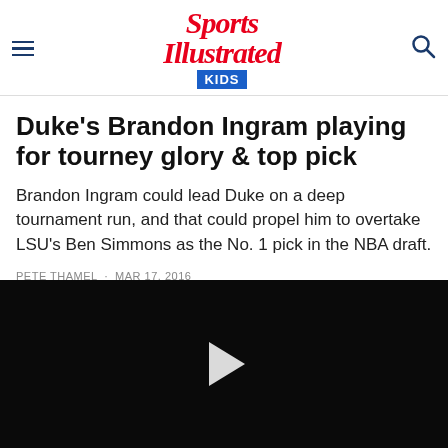Sports Illustrated KIDS
Duke’s Brandon Ingram playing for tourney glory & top pick
Brandon Ingram could lead Duke on a deep tournament run, and that could propel him to overtake LSU's Ben Simmons as the No. 1 pick in the NBA draft.
PETE THAMEL · MAR 17, 2016
[Figure (other): Social sharing icons: Facebook, Twitter, Pinterest]
[Figure (other): Black video player with white play button triangle]